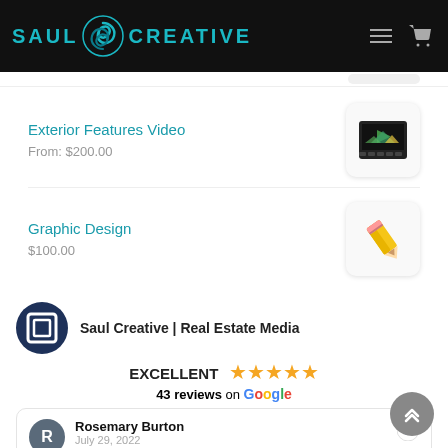SAUL CREATIVE
Exterior Features Video
From: $200.00
Graphic Design
$100.00
Saul Creative | Real Estate Media
EXCELLENT ★★★★★
43 reviews on Google
Rosemary Burton
July 29, 2022